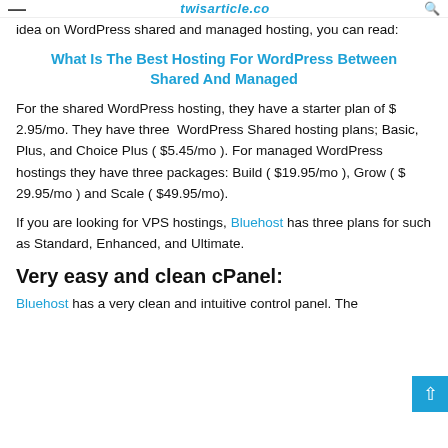— twisarticle.co 🔍
idea on WordPress shared and managed hosting, you can read:
What Is The Best Hosting For WordPress Between Shared And Managed
For the shared WordPress hosting, they have a starter plan of $ 2.95/mo. They have three  WordPress Shared hosting plans; Basic, Plus, and Choice Plus ( $5.45/mo ). For managed WordPress hostings they have three packages: Build ( $19.95/mo ), Grow ( $ 29.95/mo ) and Scale ( $49.95/mo).
If you are looking for VPS hostings, Bluehost has three plans for such as Standard, Enhanced, and Ultimate.
Very easy and clean cPanel:
Bluehost has a very clean and intuitive control panel. The